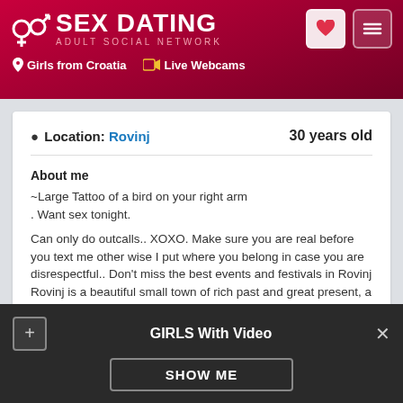SEX DATING ADULT SOCIAL NETWORK — Girls from Croatia | Live Webcams
Location: Rovinj    30 years old
About me
~Large Tattoo of a bird on your right arm
. Want sex tonight.

Can only do outcalls.. XOXO. Make sure you are real before you text me other wise I put where you belong in case you are disrespectful.. Don't miss the best events and festivals in Rovinj Rovinj is a beautiful small town of rich past and great present, a true pearl of the Adriatic.
GIRLS With Video — SHOW ME